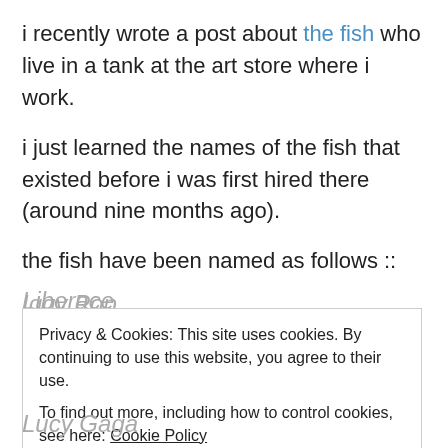i recently wrote a post about the fish who live in a tank at the art store where i work.
i just learned the names of the fish that existed before i was first hired there (around nine months ago).
the fish have been named as follows ::
Liberace
Bob Ross
Iggy Pop
Lucy Gaga
Privacy & Cookies: This site uses cookies. By continuing to use this website, you agree to their use. To find out more, including how to control cookies, see here: Cookie Policy